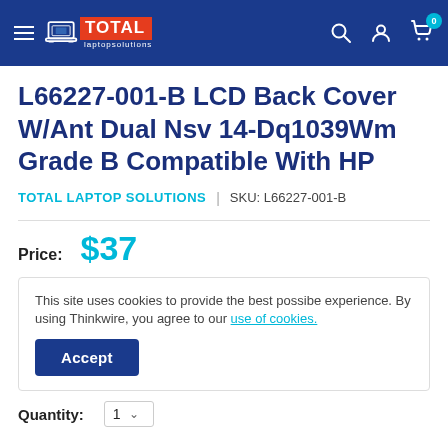[Figure (logo): Total Laptop Solutions logo with hamburger menu and navigation icons (search, user, cart with 0 badge) on a dark blue header bar]
L66227-001-B LCD Back Cover W/Ant Dual Nsv 14-Dq1039Wm Grade B Compatible With HP
TOTAL LAPTOP SOLUTIONS | SKU: L66227-001-B
Price: $37
This site uses cookies to provide the best possibe experience. By using Thinkwire, you agree to our use of cookies.
Accept
Quantity: 1